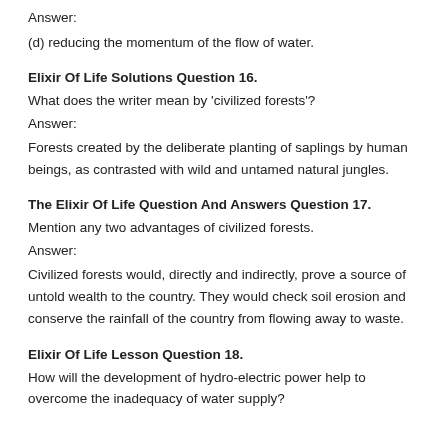Answer:
(d) reducing the momentum of the flow of water.
Elixir Of Life Solutions Question 16.
What does the writer mean by 'civilized forests'?
Answer:
Forests created by the deliberate planting of saplings by human beings, as contrasted with wild and untamed natural jungles.
The Elixir Of Life Question And Answers Question 17.
Mention any two advantages of civilized forests.
Answer:
Civilized forests would, directly and indirectly, prove a source of untold wealth to the country. They would check soil erosion and conserve the rainfall of the country from flowing away to waste.
Elixir Of Life Lesson Question 18.
How will the development of hydro-electric power help to overcome the inadequacy of water supply?